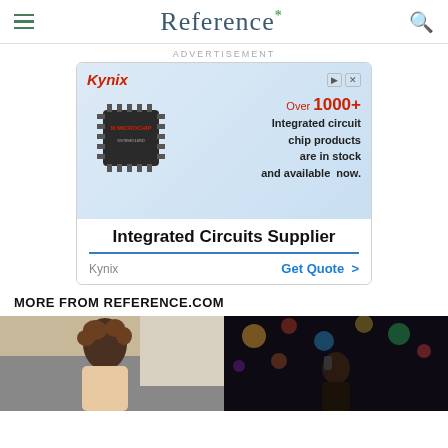Reference*
ADVERTISEMENT
[Figure (screenshot): Kynix advertisement banner showing a microchip image with text 'Over 1000+ Integrated circuit chip products are in stock and available now.' and footer 'Integrated Circuits Supplier' with 'Kynix' and 'Get Quote >' links.]
MORE FROM REFERENCE.COM
[Figure (photo): Two thumbnail images side by side: left shows a woman with curly hair in an office setting, right shows a person on a phone in a dark bar setting with bokeh lights.]